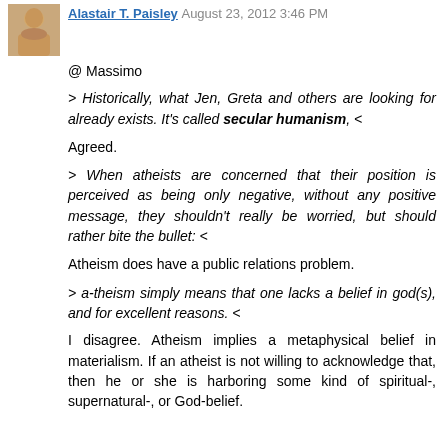Alastair T. Paisley August 23, 2012 3:46 PM
@ Massimo
> Historically, what Jen, Greta and others are looking for already exists. It's called secular humanism, <
Agreed.
> When atheists are concerned that their position is perceived as being only negative, without any positive message, they shouldn't really be worried, but should rather bite the bullet: <
Atheism does have a public relations problem.
> a-theism simply means that one lacks a belief in god(s), and for excellent reasons. <
I disagree. Atheism implies a metaphysical belief in materialism. If an atheist is not willing to acknowledge that, then he or she is harboring some kind of spiritual-, supernatural-, or God-belief.